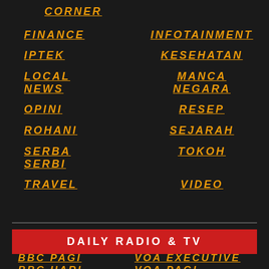CORNER
FINANCE
INFOTAINMENT
IPTEK
KESEHATAN
LOCAL NEWS
MANCA NEGARA
OPINI
RESEP
ROHANI
SEJARAH
SERBA SERBI
TOKOH
TRAVEL
VIDEO
DAILY RADIO & TV
BBC PAGI
VOA EXECUTIVE
BBC HARI
VOA PAGI